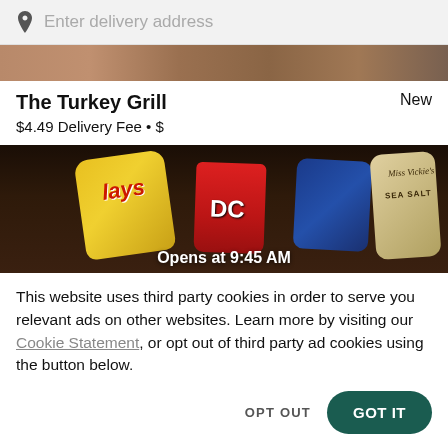Enter delivery address
[Figure (photo): Top partial view of food photo from restaurant listing]
The Turkey Grill
New
$4.49 Delivery Fee • $
[Figure (photo): Photo of snack chips including Lays, DC, and Miss Vickie's Salt, with overlay text: Opens at 9:45 AM]
This website uses third party cookies in order to serve you relevant ads on other websites. Learn more by visiting our Cookie Statement, or opt out of third party ad cookies using the button below.
OPT OUT
GOT IT